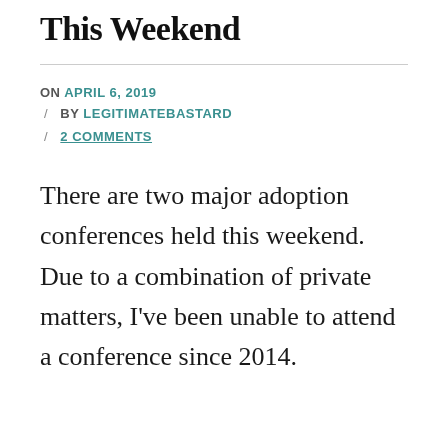This Weekend
ON APRIL 6, 2019 / BY LEGITIMATEBASTARD / 2 COMMENTS
There are two major adoption conferences held this weekend. Due to a combination of private matters, I've been unable to attend a conference since 2014.